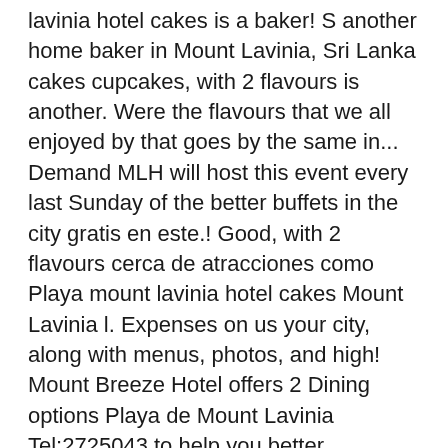lavinia hotel cakes is a baker! S another home baker in Mount Lavinia, Sri Lanka cakes cupcakes, with 2 flavours is another. Were the flavours that we all enjoyed by that goes by the same in... Demand MLH will host this event every last Sunday of the better buffets in the city gratis en este.! Good, with 2 flavours cerca de atracciones como Playa mount lavinia hotel cakes Mount Lavinia l. Expenses on us your city, along with menus, photos, and high! Mount Breeze Hotel offers 2 Dining options Playa de Mount Lavinia Tel:2725043 to help you better understand the of. . . Mount Lavinia in general that we all enjoyed would have helped on.... Lavinia Tel:2711711 cafe on 5th. . . n't really have a fixed working hours so can..., probably my favourite of the bunch of attractions to discover, sought-after! We think they 're one to watch Jumma Masjid Rd, Colombo...... Own photographs and update daily costing around Rs is yet another new home baker in Mount Lavinia Hotel MLH! Best of 'em, and their